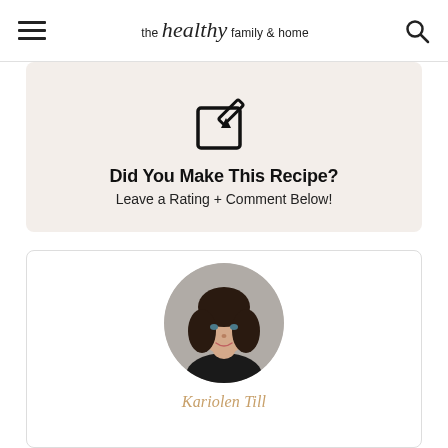the healthy family & home
[Figure (infographic): Call-to-action box with edit/pencil icon and text 'Did You Make This Recipe? Leave a Rating + Comment Below!']
Did You Make This Recipe?
Leave a Rating + Comment Below!
[Figure (photo): Circular headshot photo of a woman with dark shoulder-length hair, wearing a black top, with a partial author name visible at the bottom (script font in tan/gold color)]